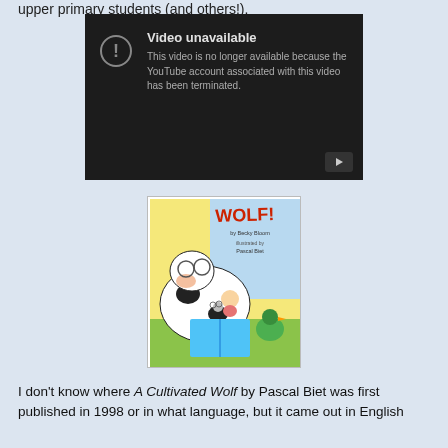upper primary students (and others!).
[Figure (screenshot): YouTube video unavailable error message on dark background. Shows an exclamation mark circle icon and text: 'Video unavailable. This video is no longer available because the YouTube account associated with this video has been terminated.' A play button is visible in the bottom right corner.]
[Figure (photo): Book cover of 'WOLF!' illustrated children's book showing a cow wearing glasses reading a book with a small child and a bird. Text on cover: 'WOLF! by Becky Bloom, illustrated by Pascal Biet']
I don't know where A Cultivated Wolf by Pascal Biet was first published in 1998 or in what language, but it came out in English